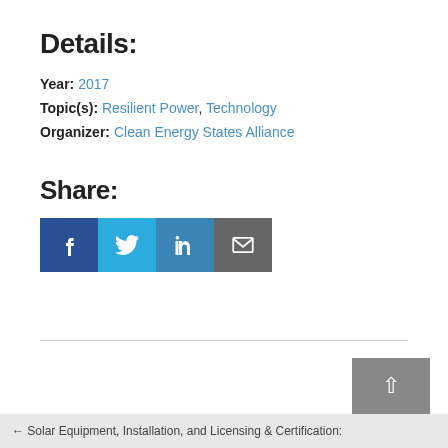Details:
Year: 2017
Topic(s): Resilient Power, Technology
Organizer: Clean Energy States Alliance
Share:
[Figure (other): Social share buttons: Facebook (f), Twitter (bird), LinkedIn (in), Email (envelope)]
← WEBINARS & EVENTS
← Solar Equipment, Installation, and Licensing & Certification: